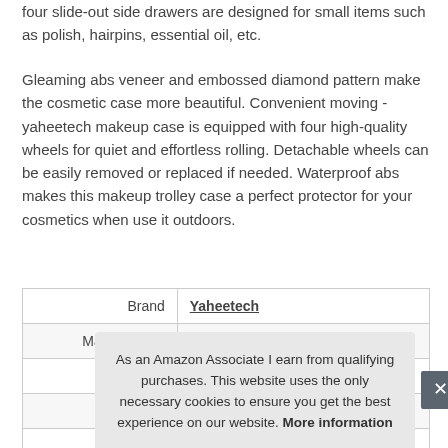four slide-out side drawers are designed for small items such as polish, hairpins, essential oil, etc.
Gleaming abs veneer and embossed diamond pattern make the cosmetic case more beautiful. Convenient moving - yaheetech makeup case is equipped with four high-quality wheels for quiet and effortless rolling. Detachable wheels can be easily removed or replaced if needed. Waterproof abs makes this makeup trolley case a perfect protector for your cosmetics when use it outdoors.
|  |  |
| --- | --- |
| Brand | Yaheetech |
| Manufacturer | Yaheetech |
As an Amazon Associate I earn from qualifying purchases. This website uses the only necessary cookies to ensure you get the best experience on our website. More information